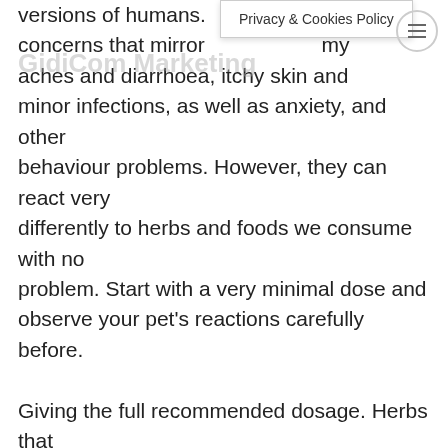Privacy & Cookies Policy
versions of humans. [health concerns that mirror] tummy aches and diarrhoea, itchy skin and minor infections, as well as anxiety, and other behaviour problems. However, they can react very differently to herbs and foods we consume with no problem. Start with a very minimal dose and observe your pet's reactions carefully before.
Giving the full recommended dosage. Herbs that work gently, and are safe to give over an extended time should be your first choices. Whenever possible, check with your vet. Vets are knowledgeable about natural medicines and herbal remedies, more so than many physicians. Fleas and skin problems in dogs and cats can be due to external things such as insect bites, mites, fungus infections or allergic reaction toxins in their environment. Animals that are hypersensitive